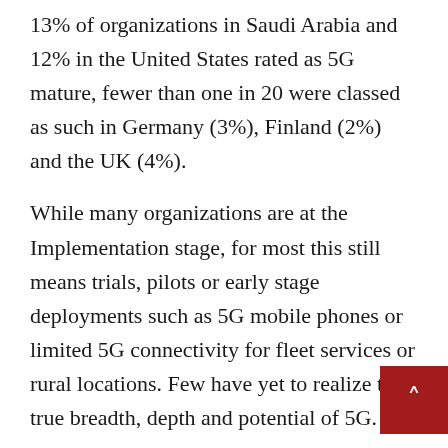13% of organizations in Saudi Arabia and 12% in the United States rated as 5G mature, fewer than one in 20 were classed as such in Germany (3%), Finland (2%) and the UK (4%).
While many organizations are at the Implementation stage, for most this still means trials, pilots or early stage deployments such as 5G mobile phones or limited 5G connectivity for fleet services or rural locations. Few have yet to realize the true breadth, depth and potential of 5G.
On average, whilst the importance of 5G adoption is well understood, a significant investment gap remains. 86% of decision makers said they have some kind of strategy for 5G, and over a third f being outpaced by the competition should the invest in 5G in the next 3 years. However, only 15%